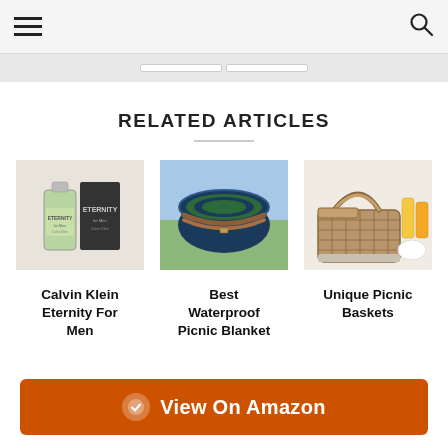Navigation header with hamburger menu and search icon
RELATED ARTICLES
[Figure (photo): Calvin Klein Eternity For Men cologne bottle product photo]
Calvin Klein Eternity For Men
[Figure (photo): Rolled waterproof picnic blanket on grass]
Best Waterproof Picnic Blanket
[Figure (photo): Wicker picnic basket with glasses and cutlery]
Unique Picnic Baskets
View On Amazon